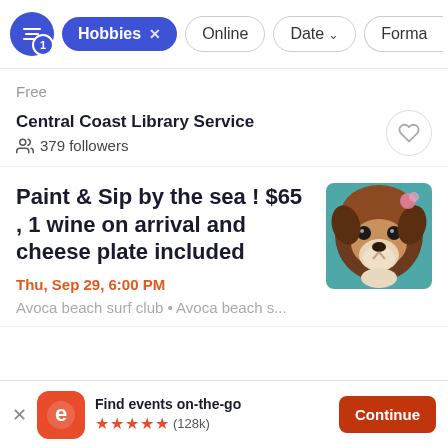Hobbies | Online | Date | Format — filter bar
Free
Central Coast Library Service
379 followers
Paint & Sip by the sea ! $65 , 1 wine on arrival and cheese plate included
Thu, Sep 29, 6:00 PM
Avoca beach surf club • Avoca beach s...
[Figure (illustration): Painting of a dog/animal face with brown fur on teal/blue background]
Find events on-the-go ★★★★★ (128k) Continue